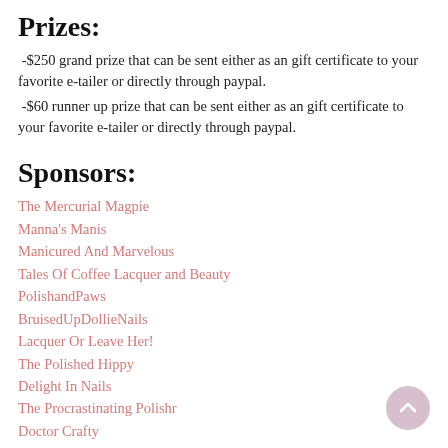Prizes:
-$250 grand prize that can be sent either as an gift certificate to your favorite e-tailer or directly through paypal.
-$60 runner up prize that can be sent either as an gift certificate to your favorite e-tailer or directly through paypal.
Sponsors:
The Mercurial Magpie
Manna's Manis
Manicured And Marvelous
Tales Of Coffee Lacquer and Beauty
PolishandPaws
BruisedUpDollieNails
Lacquer Or Leave Her!
The Polished Hippy
Delight In Nails
The Procrastinating Polishr
Doctor Crafty
Curb Appeal Nails